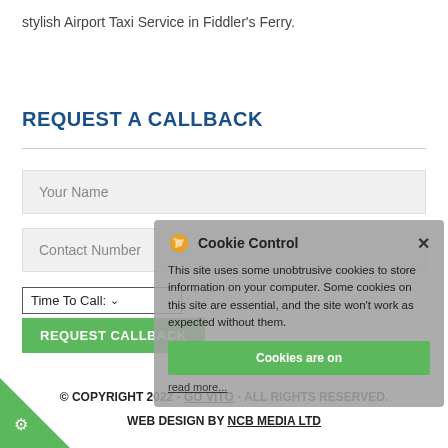stylish Airport Taxi Service in Fiddler's Ferry.
REQUEST A CALLBACK
[Figure (screenshot): Web form with fields: Your Name, Contact Number, Time To Call dropdown, and REQUEST CALLBACK button. A cookie control overlay popup is visible over part of the form.]
© COPYRIGHT 2022 - GO VITO - ALL RIGHTS RESERVED. WEB DESIGN BY NCB MEDIA LTD